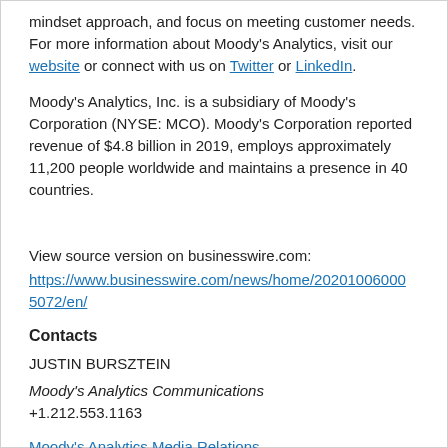mindset approach, and focus on meeting customer needs. For more information about Moody's Analytics, visit our website or connect with us on Twitter or LinkedIn.
Moody's Analytics, Inc. is a subsidiary of Moody's Corporation (NYSE: MCO). Moody's Corporation reported revenue of $4.8 billion in 2019, employs approximately 11,200 people worldwide and maintains a presence in 40 countries.
View source version on businesswire.com:
https://www.businesswire.com/news/home/20201006005072/en/
Contacts
JUSTIN BURSZTEIN
Moody's Analytics Communications
+1.212.553.1163
Moody's Analytics Media Relations